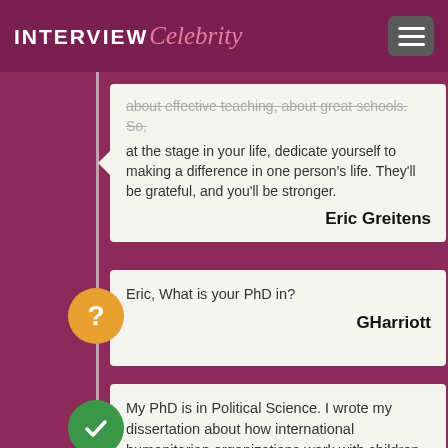INTERVIEW Celebrity
about effective teaching, about great schools. So, at the stage in your life, dedicate yourself to making a difference in one person's life. They'll be grateful, and you'll be stronger.
Eric Greitens
Eric, What is your PhD in?
GHarriott
My PhD is in Political Science. I wrote my dissertation about how international humanitarian organizations work with children in war zones.
I worked in Bosnia with families who had lost their